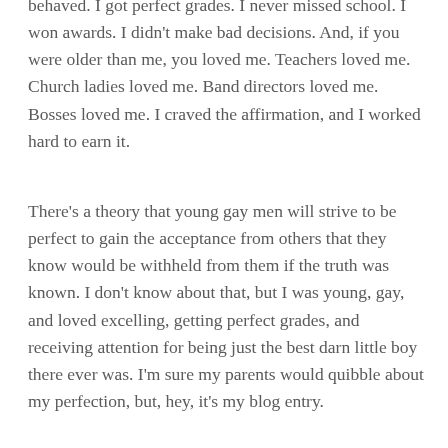behaved. I got perfect grades. I never missed school. I won awards. I didn't make bad decisions. And, if you were older than me, you loved me. Teachers loved me. Church ladies loved me. Band directors loved me. Bosses loved me. I craved the affirmation, and I worked hard to earn it.
There's a theory that young gay men will strive to be perfect to gain the acceptance from others that they know would be withheld from them if the truth was known. I don't know about that, but I was young, gay, and loved excelling, getting perfect grades, and receiving attention for being just the best darn little boy there ever was. I'm sure my parents would quibble about my perfection, but, hey, it's my blog entry.